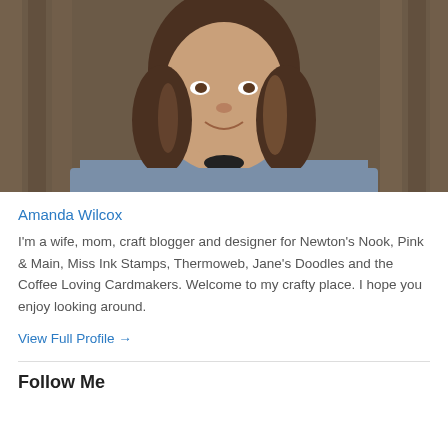[Figure (photo): Profile photo of Amanda Wilcox — a woman with shoulder-length brown hair wearing a blue sweatshirt, photographed outdoors in front of a wooden fence]
Amanda Wilcox
I'm a wife, mom, craft blogger and designer for Newton's Nook, Pink & Main, Miss Ink Stamps, Thermoweb, Jane's Doodles and the Coffee Loving Cardmakers. Welcome to my crafty place. I hope you enjoy looking around.
View Full Profile →
Follow Me